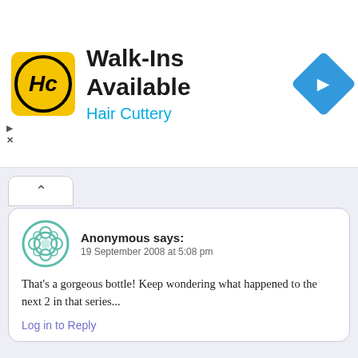[Figure (logo): Hair Cuttery advertisement banner with HC logo, text 'Walk-Ins Available' and 'Hair Cuttery', and a blue navigation arrow icon]
Anonymous says:
19 September 2008 at 5:08 pm

That's a gorgeous bottle! Keep wondering what happened to the next 2 in that series...

Log in to Reply
Anonymous says:
19 September 2008 at 5:11 pm

When I was young I would have thought it VERY play-worthy – yes, you'd have to keep it hidden!